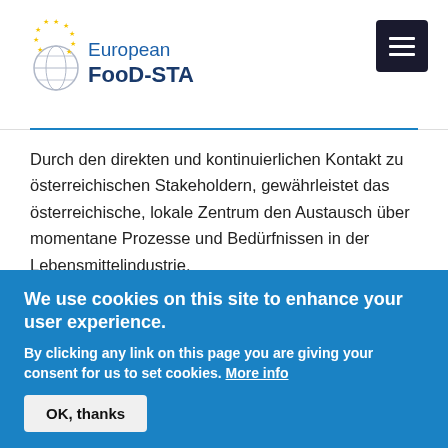[Figure (logo): European FooD-STA logo with globe and EU stars]
Durch den direkten und kontinuierlichen Kontakt zu österreichischen Stakeholdern, gewährleistet das österreichische, lokale Zentrum den Austausch über momentane Prozesse und Bedürfnissen in der Lebensmittelindustrie.
Der österreichische, lokale Hub möchte Universitäten und Angestellte der Lebensmittelindustrie für kontinuierliche, professionelle Weiterbildung, Anpassung der Lehre an
We use cookies on this site to enhance your user experience.
By clicking any link on this page you are giving your consent for us to set cookies. More info
OK, thanks